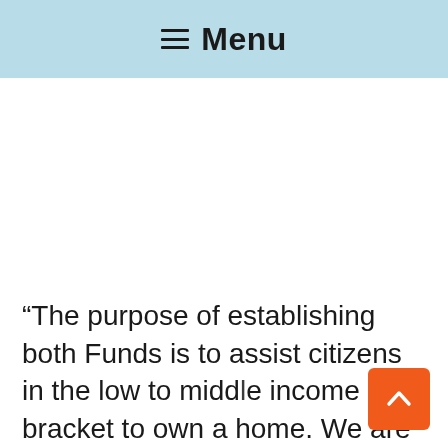Menu
“The purpose of establishing both Funds is to assist citizens in the low to middle income bracket to own a home. We are